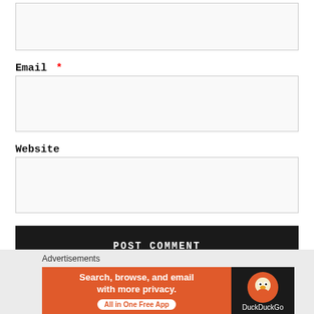[Figure (screenshot): Empty text input box for a form field (top, no label visible)]
Email *
[Figure (screenshot): Empty text input box for Email field]
Website
[Figure (screenshot): Empty text input box for Website field]
POST COMMENT
Advertisements
[Figure (screenshot): DuckDuckGo advertisement banner: Search, browse, and email with more privacy. All in One Free App.]